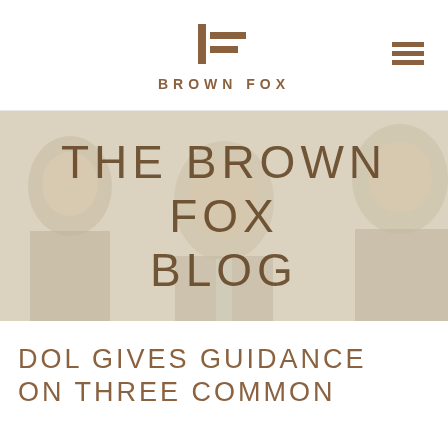BROWN FOX
[Figure (photo): Three men in suits smiling, faded/washed-out photo used as hero banner background with text 'THE BROWN FOX BLOG' overlaid]
THE BROWN FOX BLOG
DOL GIVES GUIDANCE ON THREE COMMON